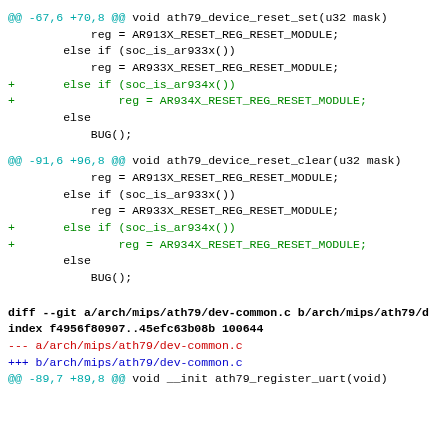@@ -67,6 +70,8 @@ void ath79_device_reset_set(u32 mask)
            reg = AR913X_RESET_REG_RESET_MODULE;
        else if (soc_is_ar933x())
            reg = AR933X_RESET_REG_RESET_MODULE;
+       else if (soc_is_ar934x())
+               reg = AR934X_RESET_REG_RESET_MODULE;
        else
            BUG();
@@ -91,6 +96,8 @@ void ath79_device_reset_clear(u32 mask)
            reg = AR913X_RESET_REG_RESET_MODULE;
        else if (soc_is_ar933x())
            reg = AR933X_RESET_REG_RESET_MODULE;
+       else if (soc_is_ar934x())
+               reg = AR934X_RESET_REG_RESET_MODULE;
        else
            BUG();
diff --git a/arch/mips/ath79/dev-common.c b/arch/mips/ath79/d
index f4956f80907..45efc63b08b 100644
--- a/arch/mips/ath79/dev-common.c
+++ b/arch/mips/ath79/dev-common.c
@@ -89,7 +89,8 @@ void __init ath79_register_uart(void)